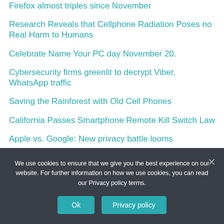Firefox almost triples since November
Research Reveals that Cellphone Radiation Poses no Real Harm to Humans
Celebrate Name Your PC day November 20.
Cybersecurity firms greenlit to decrypt Viber, WhatsApp traffic
Saving the Rainforest with Old Cell Phones
California Passes Smartphone Remote Kill Switch Law
Apple vs. Google: New privacy battle looms
Apple fights FBI in Court order to break iPhone encryption with breach prone 'back door'
We use cookies to ensure that we give you the best experience on our website. For further information on how we use cookies, you can read our Privacy policy terms.